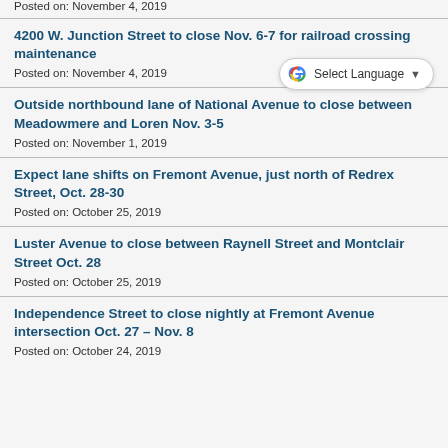Posted on: November 4, 2019
4200 W. Junction Street to close Nov. 6-7 for railroad crossing maintenance
Posted on: November 4, 2019
Outside northbound lane of National Avenue to close between Meadowmere and Loren Nov. 3-5
Posted on: November 1, 2019
Expect lane shifts on Fremont Avenue, just north of Redrex Street, Oct. 28-30
Posted on: October 25, 2019
Luster Avenue to close between Raynell Street and Montclair Street Oct. 28
Posted on: October 25, 2019
Independence Street to close nightly at Fremont Avenue intersection Oct. 27 – Nov. 8
Posted on: October 24, 2019